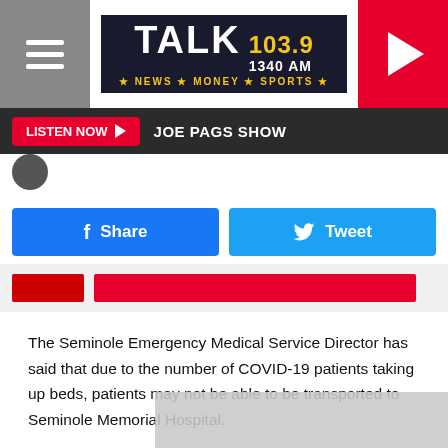[Figure (logo): Talk 103.9 / 1340 AM News Money Sports radio station header with hamburger menu on left and play button on right]
LISTEN NOW ▶  JOE PAGS SHOW
[Figure (screenshot): Facebook Share button (blue) and Twitter Tweet button (light blue)]
[Figure (screenshot): Media preview strip with small red logo and red bar]
The Seminole Emergency Medical Service Director has said that due to the number of COVID-19 patients taking up beds, patients may not be able to be transported to Seminole Memorial Hospital.
KAMC News reports that patients would instead be given transpo...